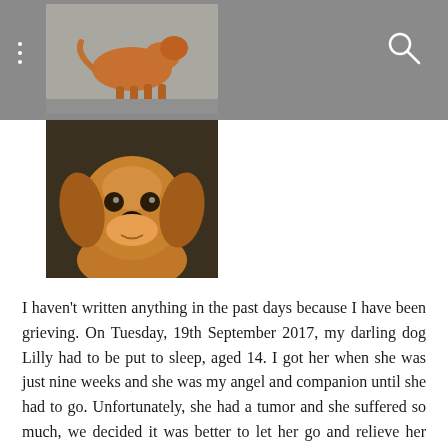[Figure (photo): Top photo of a dog (likely a beagle or similar) walking on pavement, shown in the grey header bar area]
[Figure (photo): Close-up front-facing photo of a brown/golden dog (Lilly) looking at the camera, positioned below the header]
I haven't written anything in the past days because I have been grieving. On Tuesday, 19th September 2017, my darling dog Lilly had to be put to sleep, aged 14. I got her when she was just nine weeks and she was my angel and companion until she had to go. Unfortunately, she had a tumor and she suffered so much, we decided it was better to let her go and relieve her from her pain. People who do not have dogs might not understand how painful it is to lose your furry companion but it really is and having been accompanied by Lilly for 14 years rips a huge hole into everybody's life who knew her well. The past days I escaped to Italy with my man to alleviate the pain a little and keep my thoughts from thinking too